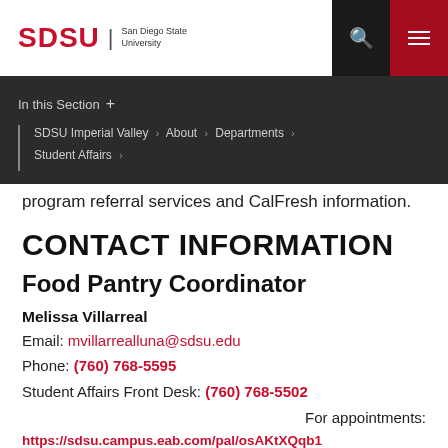SDSU | San Diego State University
In this Section +
SDSU Imperial Valley › About › Departments › Student Affairs ›
program referral services and CalFresh information.
CONTACT INFORMATION
Food Pantry Coordinator
Melissa Villarreal
Email: mvillarrealluna@sdsu.edu
Phone: (760) 768-5595
Student Affairs Front Desk: (760) 768-5502
For appointments:
https://sdsu.campus.eab.com/pal/osAKtXQqb1